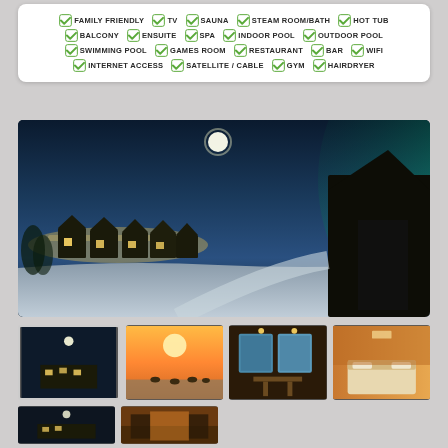✔ FAMILY FRIENDLY ✔ TV ✔ SAUNA ✔ STEAM ROOM/BATH ✔ HOT TUB ✔ BALCONY ✔ ENSUITE ✔ SPA ✔ INDOOR POOL ✔ OUTDOOR POOL ✔ SWIMMING POOL ✔ GAMES ROOM ✔ RESTAURANT ✔ BAR ✔ WIFI ✔ INTERNET ACCESS ✔ SATELLITE / CABLE ✔ GYM ✔ HAIRDRYER
[Figure (photo): Panoramic night/twilight photo of a winter resort with snow-covered cabins in a row, moon in the sky, city lights in the background, and green aurora-like glow on the right]
[Figure (photo): Thumbnail 1: aerial night view of the resort with moon]
[Figure (photo): Thumbnail 2: sunset over snowy landscape with reindeer]
[Figure (photo): Thumbnail 3: interior dining area with wooden furniture and large windows]
[Figure (photo): Thumbnail 4: cozy warm-lit bedroom interior]
[Figure (photo): Thumbnail row 2, image 1: exterior night view]
[Figure (photo): Thumbnail row 2, image 2: warm interior or exterior detail]